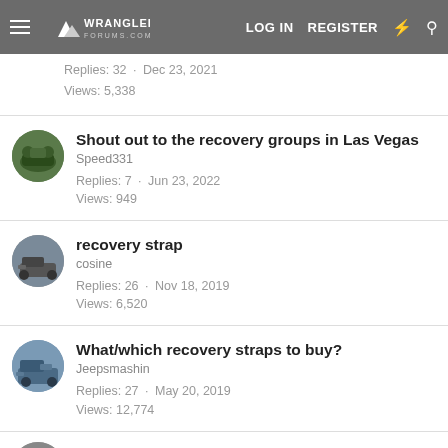Wrangler Forums — LOG IN  REGISTER
Replies: 32  · Dec 23, 2021
Views: 5,338
Shout out to the recovery groups in Las Vegas
Speed331
Replies: 7  · Jun 23, 2022
Views: 949
recovery strap
cosine
Replies: 26  · Nov 18, 2019
Views: 6,520
What/which recovery straps to buy?
Jeepsmashin
Replies: 27  · May 20, 2019
Views: 12,774